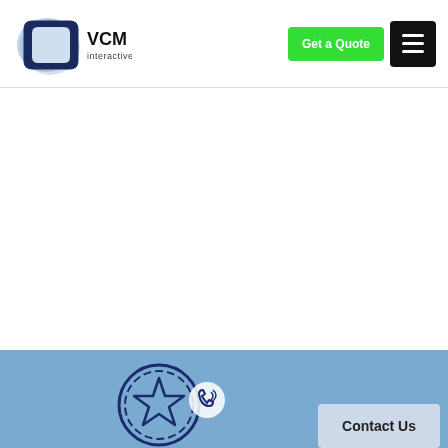VCM interactive — Get a Quote | Menu
[Figure (logo): VCM Interactive logo: stylized C/screen shape in blue-grey gradient with 'VCM' in bold and 'interactive' in small text]
[Figure (screenshot): White content area (blank/empty page section)]
[Figure (illustration): Blue section footer with a star/badge icon on the left and a 'Contact Us' button on the right]